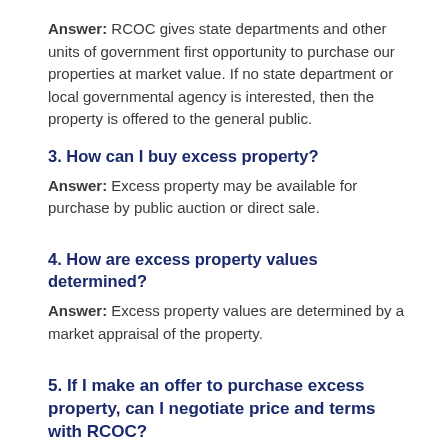Answer: RCOC gives state departments and other units of government first opportunity to purchase our properties at market value. If no state department or local governmental agency is interested, then the property is offered to the general public.
3. How can I buy excess property?
Answer: Excess property may be available for purchase by public auction or direct sale.
4. How are excess property values determined?
Answer: Excess property values are determined by a market appraisal of the property.
5. If I make an offer to purchase excess property, can I negotiate price and terms with RCOC?